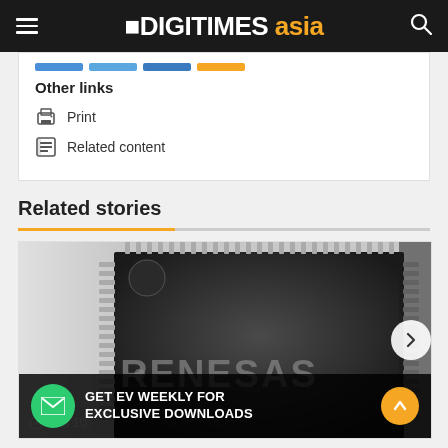DIGITIMES asia
Other links
Print
Related content
Related stories
[Figure (photo): Close-up photo of a Renesas semiconductor chip/IC with metal pins visible on sides]
Jun 10
GET EV WEEKLY FOR EXCLUSIVE DOWNLOADS